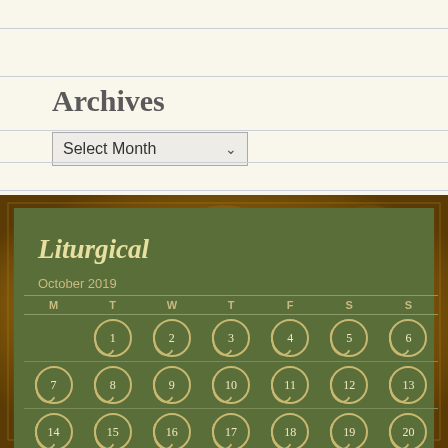Archives
Select Month
[Figure (other): Gold/brown decorative background with ornate religious imagery]
Liturgical
| M | T | W | T | F | S | S |
| --- | --- | --- | --- | --- | --- | --- |
|  | 1 | 2 | 3 | 4 | 5 | 6 |
| 7 | 8 | 9 | 10 | 11 | 12 | 13 |
| 14 | 15 | 16 | 17 | 18 | 19 | 20 |